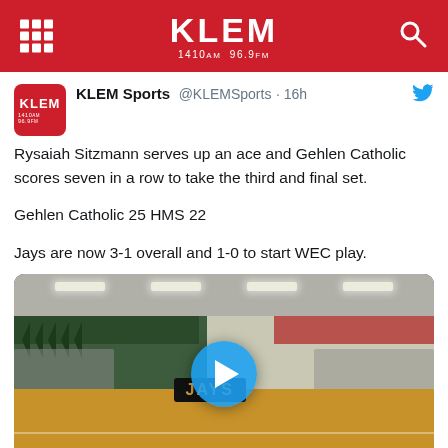KLEM 1410 AM 96.9 FM
KLEM Sports @KLEMSports · 16h
Rysaiah Sitzmann serves up an ace and Gehlen Catholic scores seven in a row to take the third and final set.

Gehlen Catholic 25 HMS 22

Jays are now 3-1 overall and 1-0 to start WEC play.
[Figure (photo): Video thumbnail of a high school volleyball game in a gymnasium with green walls, championship banners, and a wood floor. A blue play button circle overlay is centered on the image. A sign reading 'JAYS' is visible on the gym wall.]